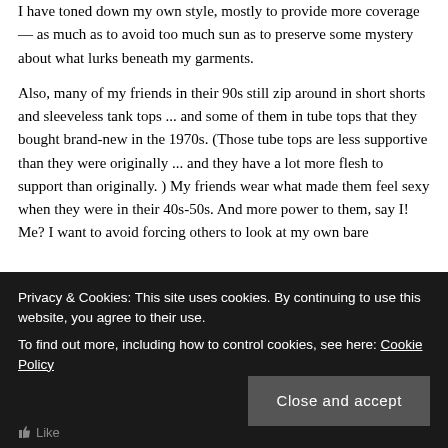I have toned down my own style, mostly to provide more coverage — as much as to avoid too much sun as to preserve some mystery about what lurks beneath my garments.
Also, many of my friends in their 90s still zip around in short shorts and sleeveless tank tops ... and some of them in tube tops that they bought brand-new in the 1970s. (Those tube tops are less supportive than they were originally ... and they have a lot more flesh to support than originally. ) My friends wear what made them feel sexy when they were in their 40s-50s. And more power to them, say I!
Me? I want to avoid forcing others to look at my own bare
Privacy & Cookies: This site uses cookies. By continuing to use this website, you agree to their use.
To find out more, including how to control cookies, see here: Cookie Policy